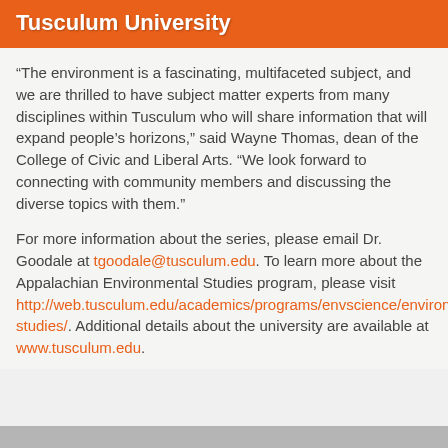Tusculum University
“The environment is a fascinating, multifaceted subject, and we are thrilled to have subject matter experts from many disciplines within Tusculum who will share information that will expand people’s horizons,” said Wayne Thomas, dean of the College of Civic and Liberal Arts. “We look forward to connecting with community members and discussing the diverse topics with them.”
For more information about the series, please email Dr. Goodale at tgoodale@tusculum.edu. To learn more about the Appalachian Environmental Studies program, please visit http://web.tusculum.edu/academics/programs/envscience/environmental-studies/. Additional details about the university are available at www.tusculum.edu.